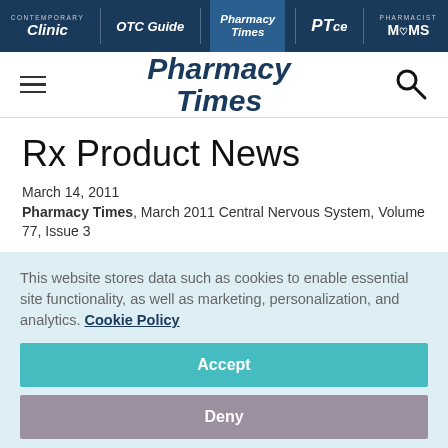Clinic | OTC Guide | Pharmacy Times | PTce | Pharmacist MOMS
[Figure (logo): Pharmacy Times logo with hamburger menu and search icon]
Rx Product News
March 14, 2011
Pharmacy Times, March 2011 Central Nervous System, Volume 77, Issue 3
This website stores data such as cookies to enable essential site functionality, as well as marketing, personalization, and analytics. Cookie Policy
Accept
Deny